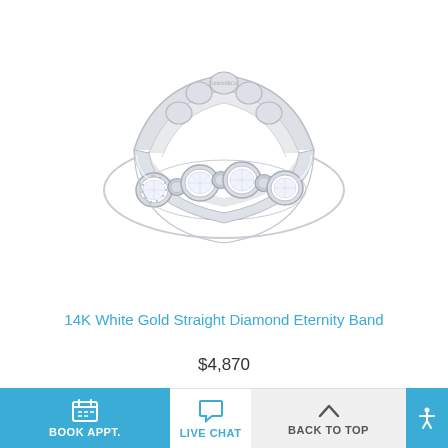[Figure (photo): A 14K white gold eternity band ring with round bezel-set diamonds alternating with round connectors, photographed from a slight angle on a white background. The ring shows a Gabriel & Co. engraving on the inside top.]
14K White Gold Straight Diamond Eternity Band
$4,870
BOOK APPT.   LIVE CHAT   BACK TO TOP